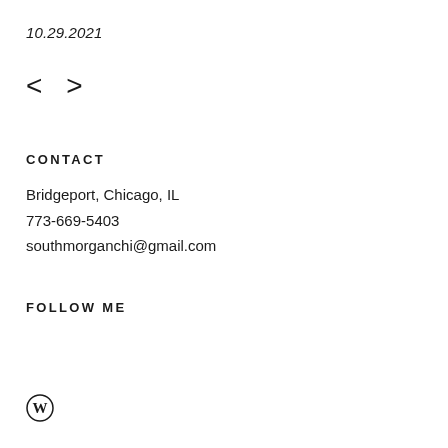10.29.2021
< >
CONTACT
Bridgeport, Chicago, IL
773-669-5403
southmorganchi@gmail.com
FOLLOW ME
[Figure (logo): WordPress logo icon (circle W)]